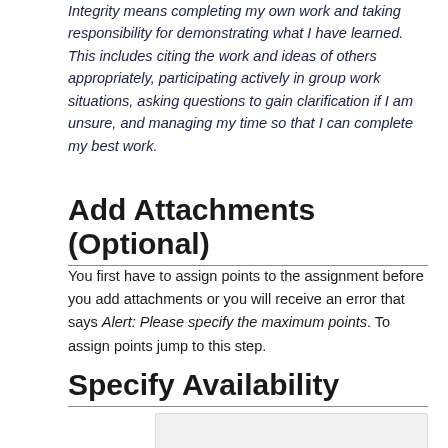Integrity means completing my own work and taking responsibility for demonstrating what I have learned. This includes citing the work and ideas of others appropriately, participating actively in group work situations, asking questions to gain clarification if I am unsure, and managing my time so that I can complete my best work.
Add Attachments (Optional)
You first have to assign points to the assignment before you add attachments or you will receive an error that says Alert: Please specify the maximum points. To assign points jump to this step.
Specify Availability
[Figure (screenshot): Screenshot showing an Availability section UI panel with a label 'Availability']